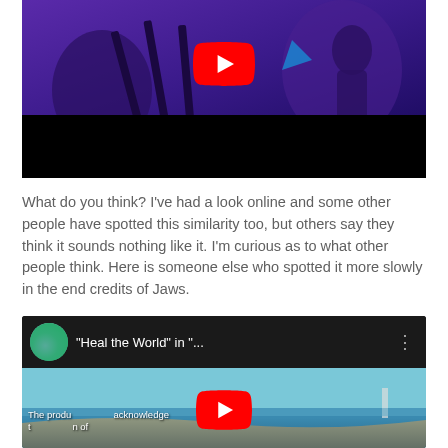[Figure (screenshot): YouTube video thumbnail showing a concert scene with purple/blue lighting, musicians visible, with a red YouTube play button overlay and black bar at bottom]
What do you think? I've had a look online and some other people have spotted this similarity too, but others say they think it sounds nothing like it. I'm curious as to what other people think. Here is someone else who spotted it more slowly in the end credits of Jaws.
[Figure (screenshot): YouTube video embed showing a video titled '"Heal the World" in "..."' with a thumbnail of a beach/ocean scene, with red YouTube play button overlay. Text at bottom reads 'The produ... acknowledge' and 'n of']